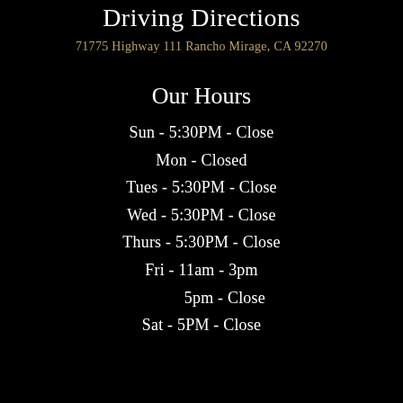Driving Directions
71775 Highway 111 Rancho Mirage, CA 92270
Our Hours
Sun  -  5:30PM - Close
Mon  -  Closed
Tues  -  5:30PM - Close
Wed  -  5:30PM - Close
Thurs  -  5:30PM - Close
Fri  -  11am - 3pm
5pm - Close
Sat  -  5PM - Close